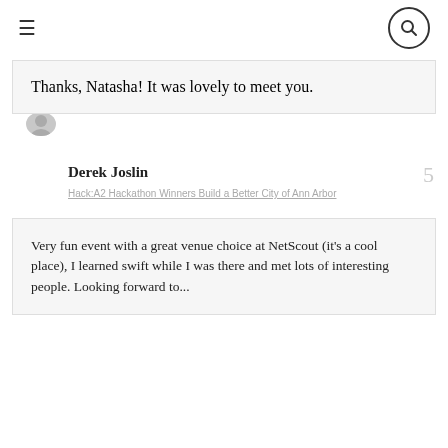≡ [search icon]
Thanks, Natasha! It was lovely to meet you.
Derek Joslin
Hack:A2 Hackathon Winners Build a Better City of Ann Arbor
5
Very fun event with a great venue choice at NetScout (it's a cool place), I learned swift while I was there and met lots of interesting people. Looking forward to...